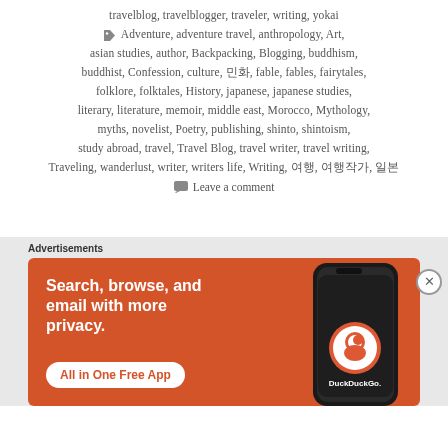travelblog, travelblogger, traveler, writing, yokai ⬛ Adventure, adventure travel, anthropology, Art, asian studies, author, Backpacking, Blogging, buddhism, buddhist, Confession, culture, 口口, fable, fables, fairytales, folklore, folktales, History, japanese, japanese studies, literary, literature, memoir, middle east, Morocco, Mythology, myths, novelist, Poetry, publishing, shinto, shintoism, study abroad, travel, Travel Blog, travel writer, travel writing, Traveling, wanderlust, writer, writers life, Writing, 口口, 口口口, 口口
💬 Leave a comment
[Figure (screenshot): DuckDuckGo advertisement banner: orange background with white bold text 'Search, browse, and email with more privacy.' and white pill button 'All in One Free App', with a phone showing the DuckDuckGo app on the right side.]